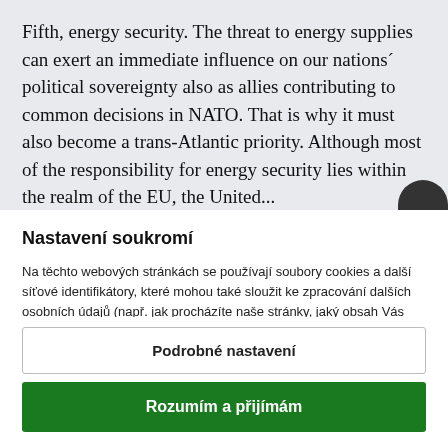Fifth, energy security. The threat to energy supplies can exert an immediate influence on our nations´ political sovereignty also as allies contributing to common decisions in NATO. That is why it must also become a trans-Atlantic priority. Although most of the responsibility for energy security lies within the realm of the EU, the United...
Nastavení soukromí
Na těchto webových stránkách se používají soubory cookies a další síťové identifikátory, které mohou také sloužit ke zpracování dalších osobních údajů (např. jak procházíte naše stránky, jaký obsah Vás zajímá a také volby, které provedete pomocí tohoto okna). My a naší partneři máme k těmto údajům ve Vašem zařízení přístup nebo je ukládáme. Tyto údaje nám pomáhají provozovat a zlepšovat naše služby. Můžeme Vám také...
Podrobné nastavení
Rozumím a přijímám